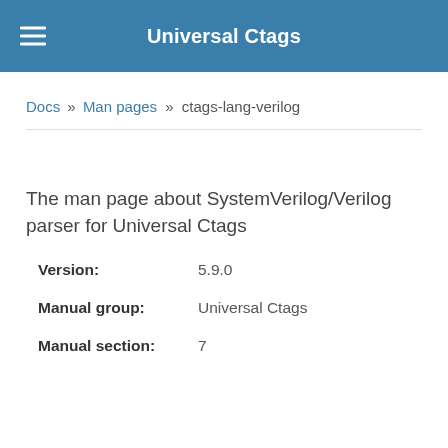Universal Ctags
Docs » Man pages » ctags-lang-verilog
The man page about SystemVerilog/Verilog parser for Universal Ctags
| Field | Value |
| --- | --- |
| Version: | 5.9.0 |
| Manual group: | Universal Ctags |
| Manual section: | 7 |